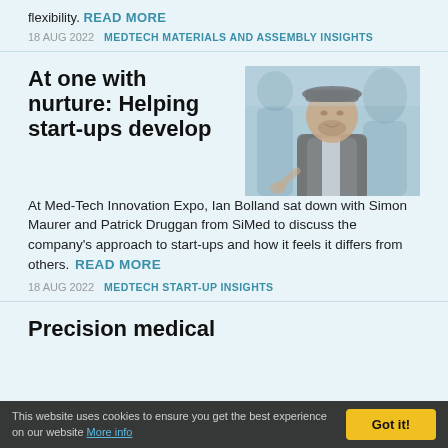flexibility. READ MORE
18 AUG 2022   MEDTECH MATERIALS AND ASSEMBLY INSIGHTS
At one with nurture: Helping start-ups develop
[Figure (photo): A man wearing a flat cap, engaged in conversation at a conference or expo event.]
At Med-Tech Innovation Expo, Ian Bolland sat down with Simon Maurer and Patrick Druggan from SiMed to discuss the company's approach to start-ups and how it feels it differs from others. READ MORE
18 AUG 2022   MEDTECH START-UP INSIGHTS
Precision medical
This website uses cookies to ensure you get the best experience on our website More info